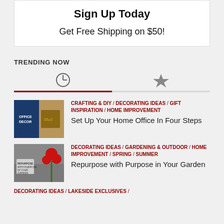Sign Up Today
Get Free Shipping on $50!
TRENDING NOW
[Figure (infographic): Trending Now tabs with clock icon (active/selected) and star icon]
[Figure (photo): Office decor thumbnail image showing books and mail holder]
CRAFTING & DIY / DECORATING IDEAS / GIFT INSPIRATION / HOME IMPROVEMENT
Set Up Your Home Office In Four Steps
[Figure (photo): Garden thumbnail showing red flowers and a repurpose sign on grey wood]
DECORATING IDEAS / GARDENING & OUTDOOR / HOME IMPROVEMENT / SPRING / SUMMER
Repurpose with Purpose in Your Garden
DECORATING IDEAS / LAKESIDE EXCLUSIVES /